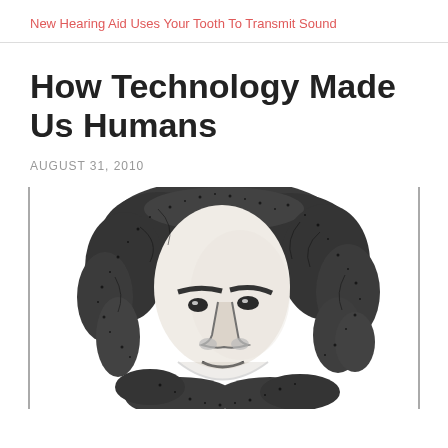New Hearing Aid Uses Your Tooth To Transmit Sound
How Technology Made Us Humans
AUGUST 31, 2010
[Figure (illustration): Black and white stippled/halftone illustration of a bald human figure with wild hair, reminiscent of early hominid or primitive human, shown from roughly chest up, facing slightly to the side.]